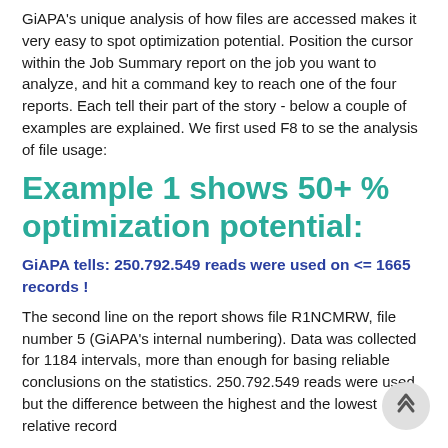GiAPA's unique analysis of how files are accessed makes it very easy to spot optimization potential. Position the cursor within the Job Summary report on the job you want to analyze, and hit a command key to reach one of the four reports. Each tell their part of the story - below a couple of examples are explained. We first used F8 to se the analysis of file usage:
Example 1 shows 50+ % optimization potential:
GiAPA tells: 250.792.549 reads were used on <= 1665 records !
The second line on the report shows file R1NCMRW, file number 5 (GiAPA's internal numbering). Data was collected for 1184 intervals, more than enough for basing reliable conclusions on the statistics. 250.792.549 reads were used, but the difference between the highest and the lowest relative record